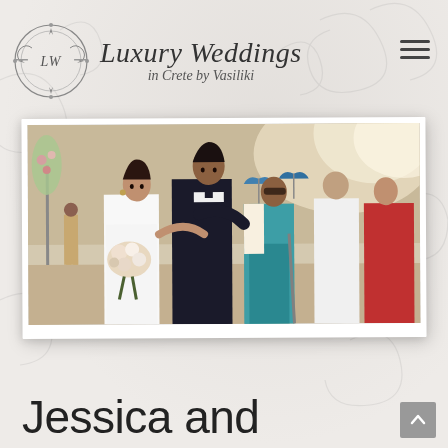[Figure (logo): Luxury Weddings in Crete by Vasiliki logo: circular ornate emblem with LW monogram and decorative flourishes, accompanied by stylized script text reading 'Luxury Weddings in Crete by Vasiliki']
[Figure (photo): Wedding photo showing a smiling bride in white dress holding a bouquet of white and pink flowers, groom in dark suit with bow tie, and wedding guests including a woman in teal/green sari and others dressed in formal attire, walking outdoors at a seaside venue in bright sunlight]
Jessica and